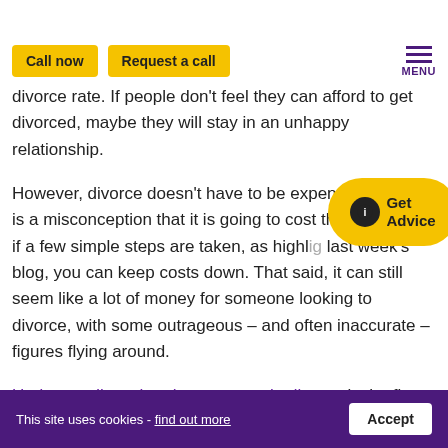Call now | Request a call | MENU
family lawyers to help in their cases, a push towards mediation and perhaps even contributed to a falling divorce rate. If people don’t feel they can afford to get divorced, maybe they will stay in an unhappy relationship.
However, divorce doesn’t have to be expensive. There is a misconception that it is going to cost thousands but if a few simple steps are taken, as highlighted in last week’s blog, you can keep costs down. That said, it can still seem like a lot of money for someone looking to divorce, with some outrageous – and often inaccurate – figures flying around.
Understanding what the costs are in divorce is the first thing to get straight, and at what stage the bills for those costs will drop through your letterbox. It is
This site uses cookies - find out more | Accept